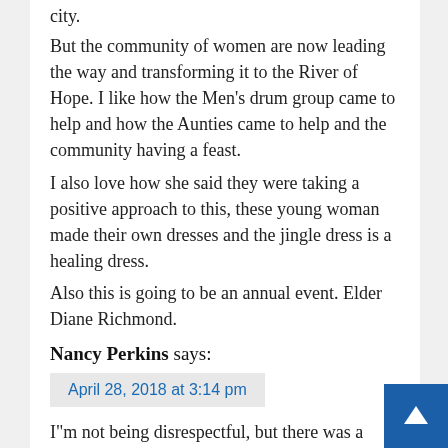city.
But the community of women are now leading the way and transforming it to the River of Hope. I like how the Men's drum group came to help and how the Aunties came to help and the community having a feast.
I also love how she said they were taking a positive approach to this, these young woman made their own dresses and the jingle dress is a healing dress.
Also this is going to be an annual event. Elder Diane Richmond.
Nancy Perkins says:
April 28, 2018 at 3:14 pm
I"m not being disrespectful, but there was a reason it was named " River of Tears". I h stays
lorelei says: